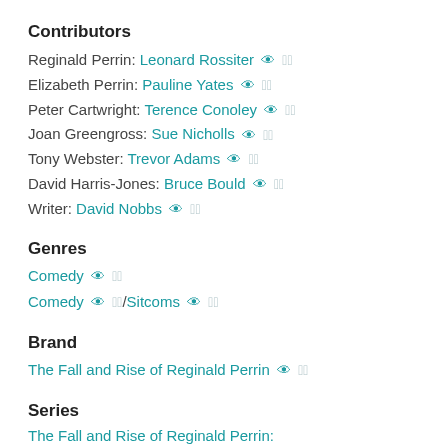Contributors
Reginald Perrin: Leonard Rossiter
Elizabeth Perrin: Pauline Yates
Peter Cartwright: Terence Conoley
Joan Greengross: Sue Nicholls
Tony Webster: Trevor Adams
David Harris-Jones: Bruce Bould
Writer: David Nobbs
Genres
Comedy
Comedy / Sitcoms
Brand
The Fall and Rise of Reginald Perrin
Series
The Fall and Rise of Reginald Perrin: Series 1